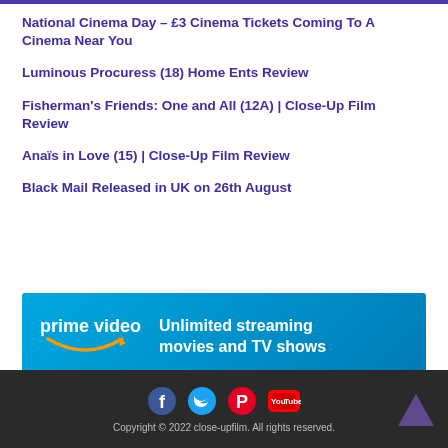National Cinema Day – £3 Cinema Tickets Coming To A Cinema Near You
Luminous Procuress (18) Home Ents Review
Fisherman's Friends: One and All (12A) | Close-Up Film Review
Anaïs in Love (15) | Close-Up Film Review
Black Mail Released in UK on 26th August
[Figure (screenshot): Amazon Prime Video advertisement banner with blue gradient background showing 'prime video' logo with smile arrow and text 'Unlimited streaming movies and TV sho']
Copyright © 2022 close-upfilm. All rights reserved.